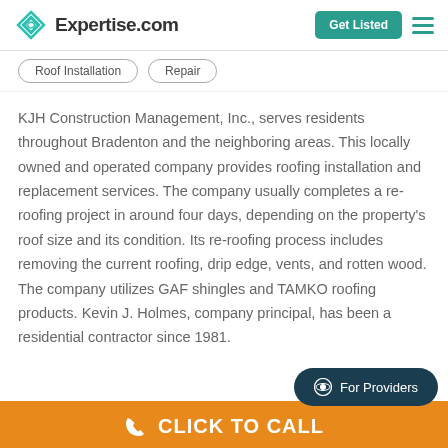Expertise.com — Get Listed
Roof Installation
Repair
KJH Construction Management, Inc., serves residents throughout Bradenton and the neighboring areas. This locally owned and operated company provides roofing installation and replacement services. The company usually completes a re-roofing project in around four days, depending on the property's roof size and its condition. Its re-roofing process includes removing the current roofing, drip edge, vents, and rotten wood. The company utilizes GAF shingles and TAMKO roofing products. Kevin J. Holmes, company principal, has been a residential contractor since 1981.
For Providers
CLICK TO CALL